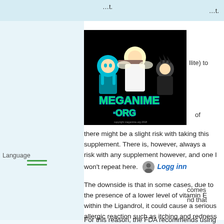...t.
[Figure (logo): MegaAnime.org logo — anime characters on black background with green stylized text 'MEGANIME.ORG']
llite) to
of
comes
nd that
there might be a slight risk with taking this supplement. There is, however, always a risk with any supplement however, and one I won't repeat here.
Language supplement
Logg inn
The downside is that in some cases, due to the presence of a lower level of vitamin E within the Ligandrol, it could cause a serious allergic reaction such as itching and redness or itching when taking it.
For this reason, the FDA recommends using